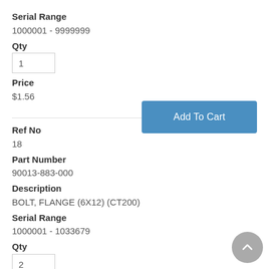Serial Range
1000001 - 9999999
Qty
1
Price
$1.56
[Figure (other): Add To Cart button]
Ref No
18
Part Number
90013-883-000
Description
BOLT, FLANGE (6X12) (CT200)
Serial Range
1000001 - 1033679
Qty
2
Price